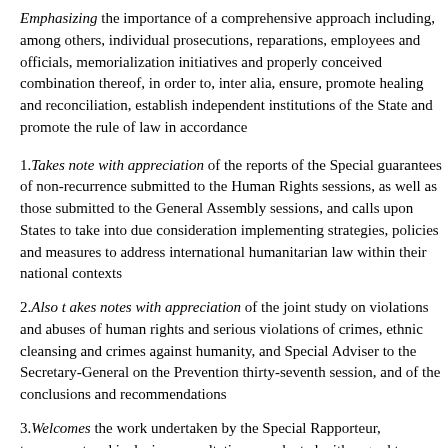Emphasizing the importance of a comprehensive approach including, among others, individual prosecutions, reparations, employees and officials, memorialization initiatives and properly conceived combination thereof, in order to, inter alia, ensure, promote healing and reconciliation, establish independent institutions of the State and promote the rule of law in accordance
1. Takes note with appreciation of the reports of the Special Rapporteur guarantees of non-recurrence submitted to the Human Rights Council sessions, as well as those submitted to the General Assembly sessions, and calls upon States to take into due consideration implementing strategies, policies and measures to address international humanitarian law within their national contexts
2. Also takes notes with appreciation of the joint study on violations and abuses of human rights and serious violations of crimes, ethnic cleansing and crimes against humanity, and Special Adviser to the Secretary-General on the Prevention thirty-seventh session, and of the conclusions and recommendations
3. Welcomes the work undertaken by the Special Rapporteur, transparent and inclusive consultations conducted with regard to undertaking of country visits;
4. Also welcomes the cooperation of those States that have